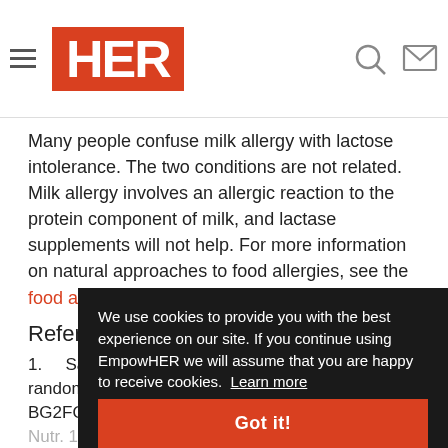HER
Many people confuse milk allergy with lactose intolerance. The two conditions are not related. Milk allergy involves an allergic reaction to the protein component of milk, and lactase supplements will not help. For more information on natural approaches to food allergies, see the food allergy article.
References
1. Saltzman JR, Russell RM, Golner B, et al. A randomized trial of Lactobacillus acidophilus BG2FO4 to treat lactose intolerance. Am J Clin Nutr. 1999;69:140–146.
Last reviewed April 2009 by EBSCO Medical Review Board
We use cookies to provide you with the best experience on our site. If you continue using EmpowHER we will assume that you are happy to receive cookies. Learn more